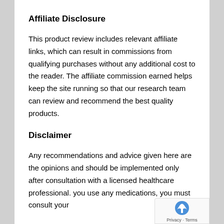Affiliate Disclosure
This product review includes relevant affiliate links, which can result in commissions from qualifying purchases without any additional cost to the reader. The affiliate commission earned helps keep the site running so that our research team can review and recommend the best quality products.
Disclaimer
Any recommendations and advice given here are the opinions and should be implemented only after consultation with a licensed healthcare professional. you use any medications, you must consult your